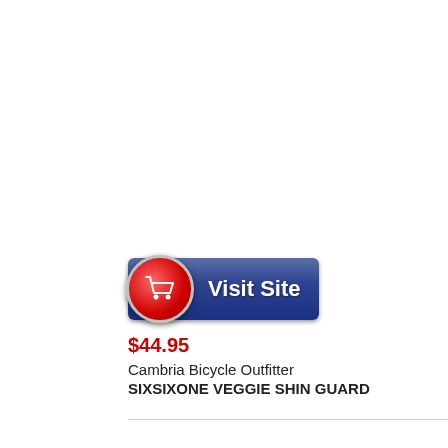[Figure (other): Blue Visit Site button with red shopping cart circle icon on the left]
$44.95
Cambria Bicycle Outfitter
SIXSIXONE VEGGIE SHIN GUARD